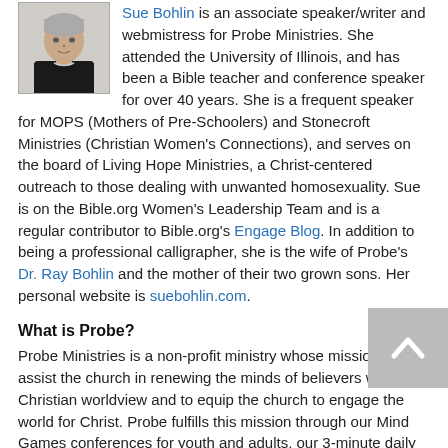[Figure (photo): Headshot photo of Sue Bohlin, a woman with short gray hair wearing a dark jacket]
Sue Bohlin is an associate speaker/writer and webmistress for Probe Ministries. She attended the University of Illinois, and has been a Bible teacher and conference speaker for over 40 years. She is a frequent speaker for MOPS (Mothers of Pre-Schoolers) and Stonecroft Ministries (Christian Women's Connections), and serves on the board of Living Hope Ministries, a Christ-centered outreach to those dealing with unwanted homosexuality. Sue is on the Bible.org Women's Leadership Team and is a regular contributor to Bible.org's Engage Blog. In addition to being a professional calligrapher, she is the wife of Probe's Dr. Ray Bohlin and the mother of their two grown sons. Her personal website is suebohlin.com.
What is Probe?
Probe Ministries is a non-profit ministry whose mission is to assist the church in renewing the minds of believers with a Christian worldview and to equip the church to engage the world for Christ. Probe fulfills this mission through our Mind Games conferences for youth and adults, our 3-minute daily radio program, and our extensive Web site at www.probe.org.
Further information about Probe's materials and ministry may be obtained by contacting us at:
Probe Ministries